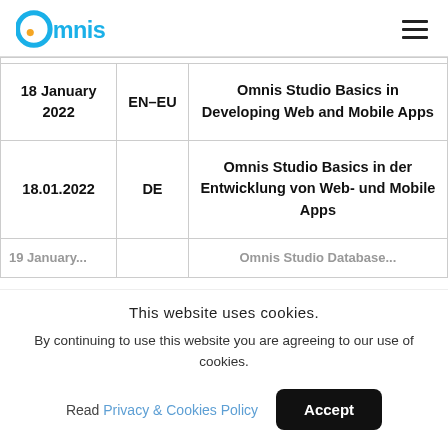Omnis logo and navigation menu
| Date | Language | Course |
| --- | --- | --- |
| 18 January 2022 | EN–EU | Omnis Studio Basics in Developing Web and Mobile Apps |
| 18.01.2022 | DE | Omnis Studio Basics in der Entwicklung von Web- und Mobile Apps |
| 19 January... |  | Omnis Studio Database... |
This website uses cookies.
By continuing to use this website you are agreeing to our use of cookies.
Read Privacy & Cookies Policy  Accept